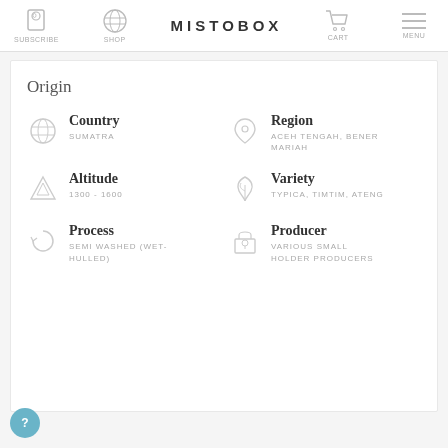SUBSCRIBE | SHOP | MISTOBOX | CART | MENU
Origin
Country
SUMATRA
Region
ACEH TENGAH, BENER MARIAH
Altitude
1300 - 1600
Variety
TYPICA, TIMTIM, ATENG
Process
SEMI WASHED (WET-HULLED)
Producer
VARIOUS SMALL HOLDER PRODUCERS